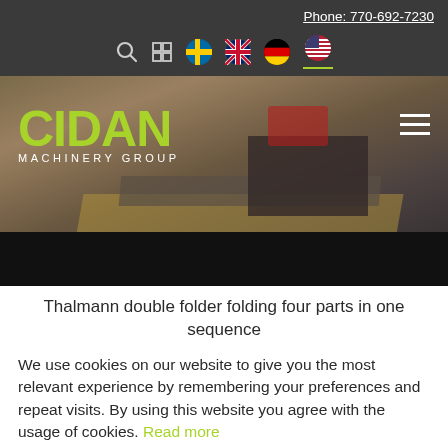Phone: 770-692-7230
[Figure (screenshot): CIDAN MACHINERY GROUP website header with navigation icons including search, menu, and language flags (Swedish, British, German, US)]
[Figure (photo): Hero image showing metal sheet folding machinery in a factory setting with CIDAN MACHINERY GROUP logo overlay in lime green and white text, and hamburger menu icon]
Thalmann double folder folding four parts in one sequence
We use cookies on our website to give you the most relevant experience by remembering your preferences and repeat visits. By using this website you agree with the usage of cookies. Read more
OK